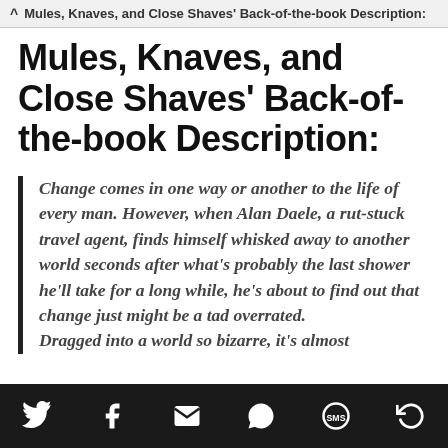^ Mules, Knaves, and Close Shaves' Back-of-the-book Description:
Mules, Knaves, and Close Shaves' Back-of-the-book Description:
Change comes in one way or another to the life of every man. However, when Alan Daele, a rut-stuck travel agent, finds himself whisked away to another world seconds after what's probably the last shower he'll take for a long while, he's about to find out that change just might be a tad overrated.
Dragged into a world so bizarre, it's almost
Twitter Facebook Email WhatsApp SMS Share